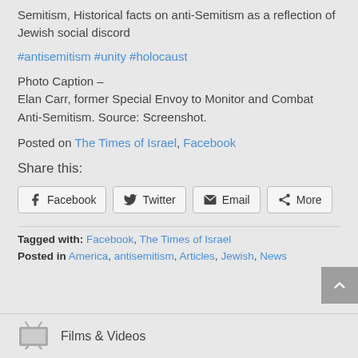Semitism, Historical facts on anti-Semitism as a reflection of Jewish social discord
#antisemitism #unity #holocaust
Photo Caption – Elan Carr, former Special Envoy to Monitor and Combat Anti-Semitism. Source: Screenshot.
Posted on The Times of Israel, Facebook
Share this:
[Figure (other): Share buttons: Facebook, Twitter, Email, More]
Tagged with: Facebook, The Times of Israel
Posted in America, antisemitism, Articles, Jewish, News
[Figure (other): Back to top button]
Films & Videos